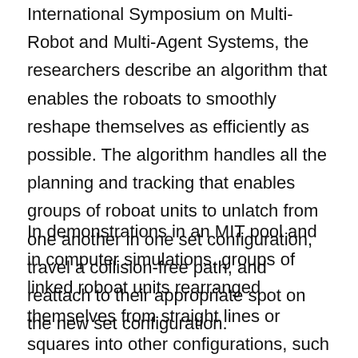International Symposium on Multi-Robot and Multi-Agent Systems, the researchers describe an algorithm that enables the roboats to smoothly reshape themselves as efficiently as possible. The algorithm handles all the planning and tracking that enables groups of roboat units to unlatch from one another in one set configuration, travel a collision-free path, and reattach to their appropriate spot on the new set configuration.
In demonstrations in an MIT pool and in computer simulations, groups of linked roboat units rearranged themselves from straight lines or squares into other configurations, such as rectangles and “L” shapes. The experimental transformations only took a few minutes. More complex shapeshifts may take longer, depending on the number of moving units — which